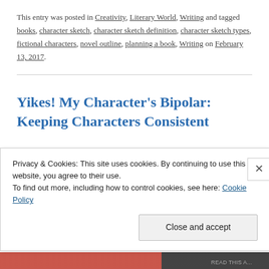This entry was posted in Creativity, Literary World, Writing and tagged books, character sketch, character sketch definition, character sketch types, fictional characters, novel outline, planning a book, Writing on February 13, 2017.
Yikes! My Character's Bipolar: Keeping Characters Consistent
Privacy & Cookies: This site uses cookies. By continuing to use this website, you agree to their use. To find out more, including how to control cookies, see here: Cookie Policy